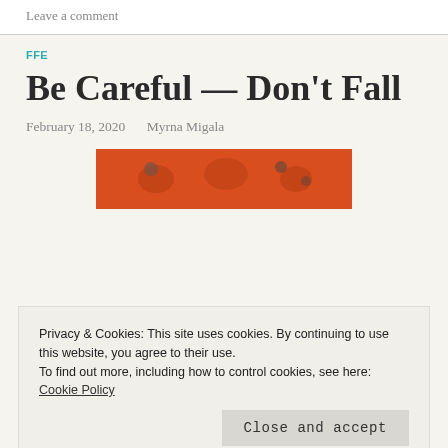Leave a comment
FFE
Be Careful — Don't Fall
February 18, 2020   Myrna Migala
[Figure (photo): Orange/red background with illustrated figures, partially visible at top and bottom of page]
Privacy & Cookies: This site uses cookies. By continuing to use this website, you agree to their use.
To find out more, including how to control cookies, see here: Cookie Policy
Close and accept